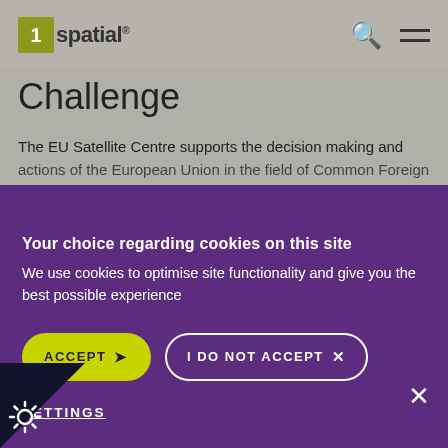[Figure (logo): 1Spatial company logo with yellow-green square containing the number 1 and the word 'spatial' in dark text]
Challenge
The EU Satellite Centre supports the decision making and actions of the European Union in the field of Common Foreign
Your choice regarding cookies on this site
We use cookies to optimise site functionality and give you the best possible experience
ACCEPT
I DO NOT ACCEPT
SETTINGS